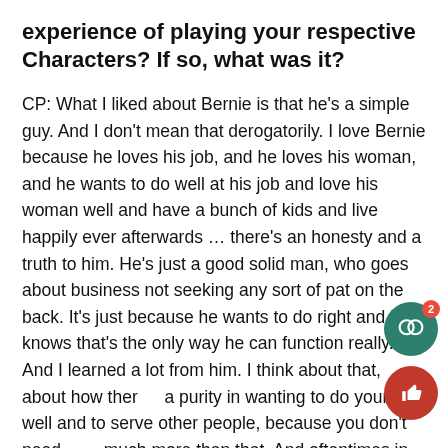experience of playing your respective Characters? If so, what was it?
CP: What I liked about Bernie is that he's a simple guy. And I don't mean that derogatorily. I love Bernie because he loves his job, and he loves his woman, and he wants to do well at his job and love his woman well and have a bunch of kids and live happily ever afterwards … there's an honesty and a truth to him. He's just a good solid man, who goes about business not seeking any sort of pat on the back. It's just because he wants to do right and he knows that's the only way he can function really. And I learned a lot from him. I think about that, about how there's a purity in wanting to do your job well and to serve other people, because you don't need much more than that. And oftentimes in our